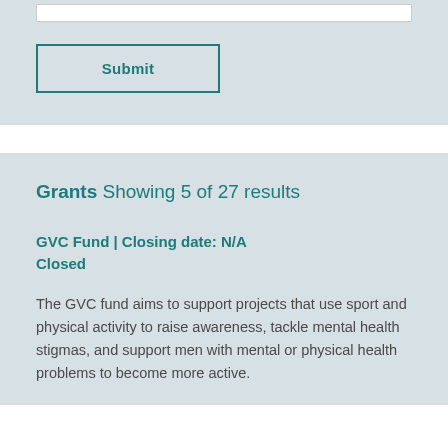[Figure (other): Input text field (form element) at top of page]
Submit
Grants Showing 5 of 27 results
GVC Fund | Closing date: N/A
Closed
The GVC fund aims to support projects that use sport and physical activity to raise awareness, tackle mental health stigmas, and support men with mental or physical health problems to become more active.